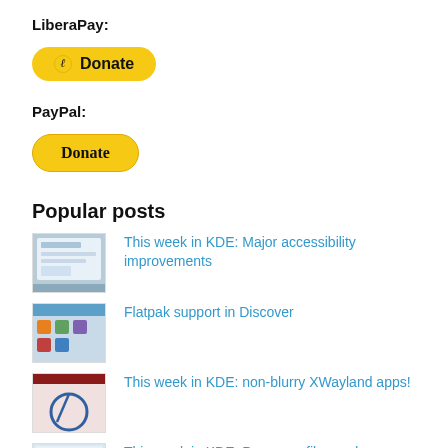LiberaPay:
[Figure (other): LiberaPay Donate button (yellow/gold rounded button with Liberapay logo and 'Donate' text)]
PayPal:
[Figure (other): PayPal Donate button (yellow/gold rounded button with 'Donate' text)]
Popular posts
This week in KDE: Major accessibility improvements
Flatpak support in Discover
This week in KDE: non-blurry XWayland apps!
This week in KDE: Power profiles and a more polished Kickoff
This week in KDE: Tons of UI…